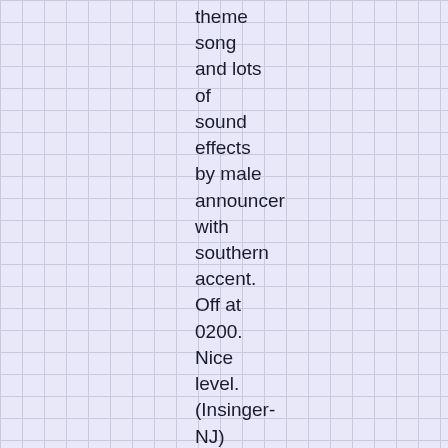theme song and lots of sound effects by male announcer with southern accent. Off at 0200. Nice level. (Insinger-NJ)
6925 PIRATE. WNKR (presumed relay), 0102-0129, 24 Mar